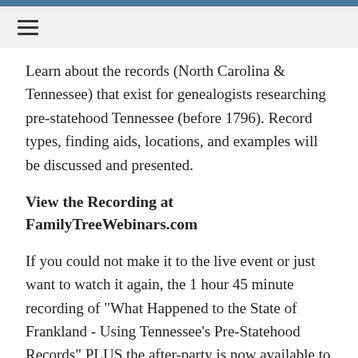≡ (navigation hamburger menu)
Learn about the records (North Carolina & Tennessee) that exist for genealogists researching pre-statehood Tennessee (before 1796). Record types, finding aids, locations, and examples will be discussed and presented.
View the Recording at FamilyTreeWebinars.com
If you could not make it to the live event or just want to watch it again, the 1 hour 45 minute recording of "What Happened to the State of Frankland - Using Tennessee's Pre-Statehood Records" PLUS the after-party is now available to view in our webinar library for free for a limited time. Or watch it at your convenience with an annual...